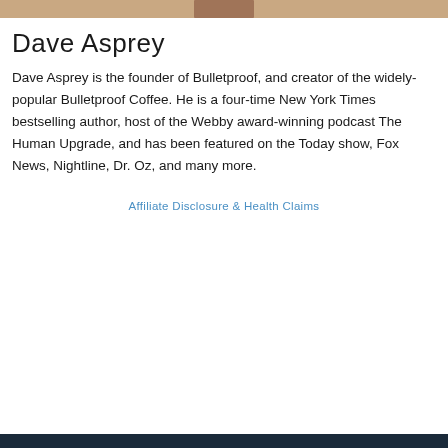[Figure (photo): Partial cropped photo of Dave Asprey at the top of the page]
Dave Asprey
Dave Asprey is the founder of Bulletproof, and creator of the widely-popular Bulletproof Coffee. He is a four-time New York Times bestselling author, host of the Webby award-winning podcast The Human Upgrade, and has been featured on the Today show, Fox News, Nightline, Dr. Oz, and many more.
Affiliate Disclosure & Health Claims